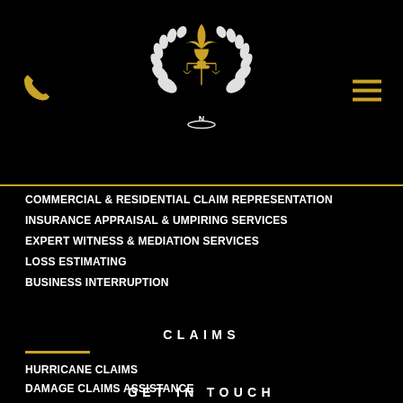[Figure (logo): Gold fleur-de-lis with laurel wreath and scales of justice emblem on black background, with letter N at base]
COMMERCIAL & RESIDENTIAL CLAIM REPRESENTATION
INSURANCE APPRAISAL & UMPIRING SERVICES
EXPERT WITNESS & MEDIATION SERVICES
LOSS ESTIMATING
BUSINESS INTERRUPTION
CLAIMS
HURRICANE CLAIMS
DAMAGE CLAIMS ASSISTANCE
VANDALISM & RIOTING
CHECK CLAIM STATUS
GET IN TOUCH